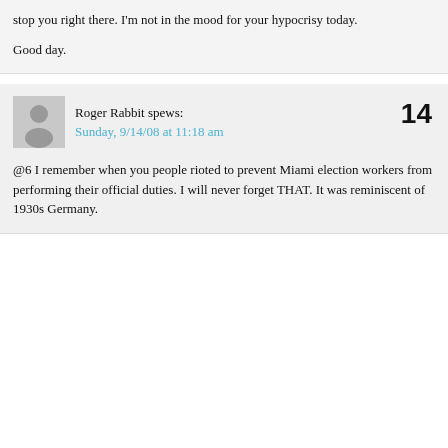stop you right there. I'm not in the mood for your hypocrisy today.

Good day.
Roger Rabbit spews:
Sunday, 9/14/08 at 11:18 am
14
@6 I remember when you people rioted to prevent Miami election workers from performing their official duties. I will never forget THAT. It was reminiscent of 1930s Germany.